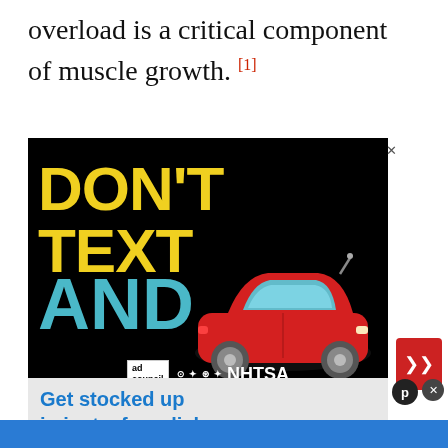overload is a critical component of muscle growth. [1]
[Figure (infographic): Ad banner with black background showing 'DON'T TEXT AND [car emoji]' in yellow and teal text, with Ad Council and NHTSA logos at the bottom.]
[Figure (infographic): Ad banner: 'Get stocked up in just a few clicks — No markups or hidden fees.']